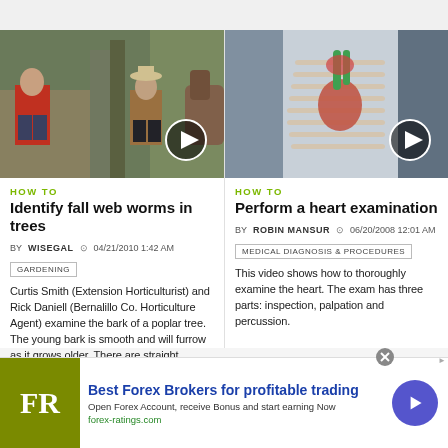[Figure (screenshot): Video thumbnail showing two men outdoors, one in red jacket and one in brown jacket, with trees in background. Play button visible.]
HOW TO
Identify fall web worms in trees
BY WISEGAL  04/21/2010 1:42 AM
GARDENING
Curtis Smith (Extension Horticulturist) and Rick Daniell (Bernalillo Co. Horticulture Agent) examine the bark of a poplar tree. The young bark is smooth and will furrow as it grows older. There are straight horizontal
[Figure (screenshot): Video thumbnail showing anatomical illustration of human heart/chest cavity. Play button visible.]
HOW TO
Perform a heart examination
BY ROBIN MANSUR  06/20/2008 12:01 AM
MEDICAL DIAGNOSIS & PROCEDURES
This video shows how to thoroughly examine the heart. The exam has three parts: inspection, palpation and percussion.
[Figure (screenshot): Advertisement banner: Best Forex Brokers for profitable trading. FR logo in olive green. forex-ratings.com]